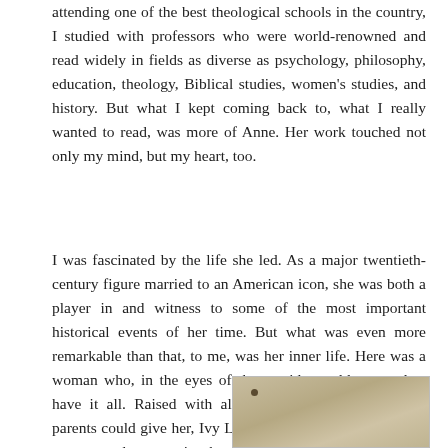attending one of the best theological schools in the country, I studied with professors who were world-renowned and read widely in fields as diverse as psychology, philosophy, education, theology, Biblical studies, women's studies, and history. But what I kept coming back to, what I really wanted to read, was more of Anne. Her work touched not only my mind, but my heart, too.
I was fascinated by the life she led. As a major twentieth-century figure married to an American icon, she was both a player in and witness to some of the most important historical events of her time. But what was even more remarkable than that, to me, was her inner life. Here was a woman who, in the eyes of the outside world, seemed to have it all. Raised with all the advantages her wealthy parents could give her, Ivy League educated, married to the most popular man in the world, she was talented and successful in her own right and became a best-selling author. But this wasn't the whole picture.
[Figure (photo): Partial photograph visible at the bottom right of the page, showing a light brownish/sepia toned image, partially cropped.]